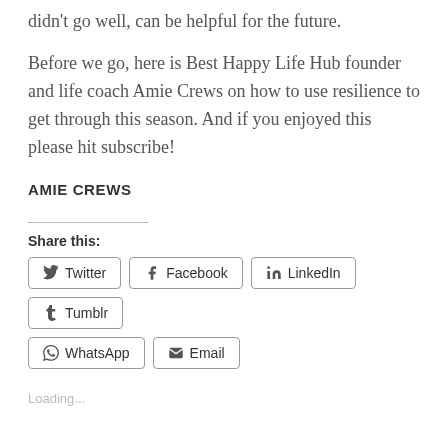didn't go well, can be helpful for the future.
Before we go, here is Best Happy Life Hub founder and life coach Amie Crews on how to use resilience to get through this season. And if you enjoyed this please hit subscribe!
AMIE CREWS
Share this:
Twitter | Facebook | LinkedIn | Tumblr | WhatsApp | Email
Loading...